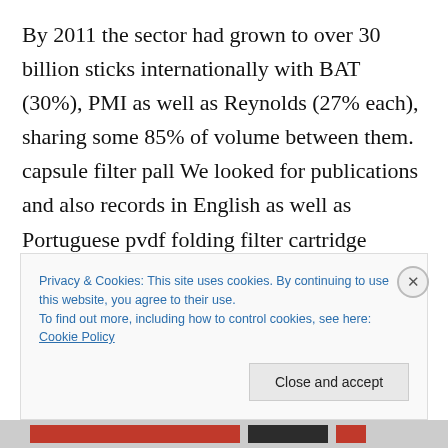By 2011 the sector had grown to over 30 billion sticks internationally with BAT (30%), PMI as well as Reynolds (27% each), sharing some 85% of volume between them. capsule filter pall We looked for publications and also records in English as well as Portuguese pvdf folding filter cartridge related to cigarette layout and advertising and marketing, filter innovation and also brand-new types of filter. pleated membrane filter cartridge meaning.
Privacy & Cookies: This site uses cookies. By continuing to use this website, you agree to their use.
To find out more, including how to control cookies, see here: Cookie Policy
Close and accept